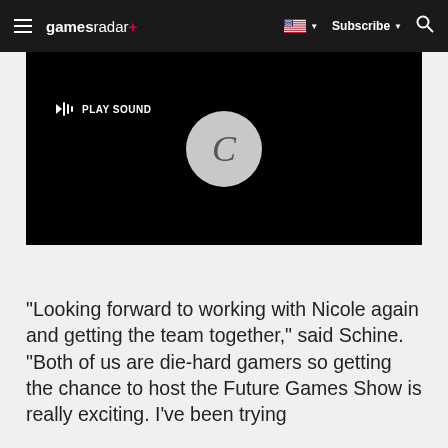gamesradar+ | Subscribe | Search
[Figure (screenshot): Video player with black background, a loading spinner (gray circle with C), and a PLAY SOUND button on the left]
"Looking forward to working with Nicole again and getting the team together," said Schine. "Both of us are die-hard gamers so getting the chance to host the Future Games Show is really exciting. I've been trying